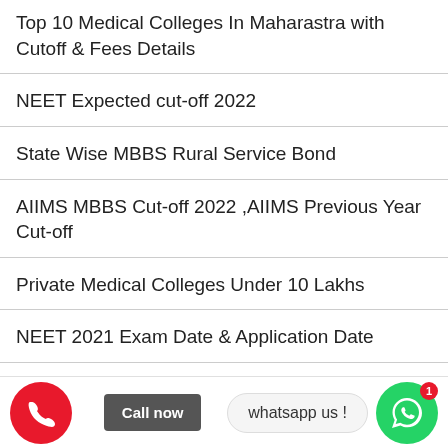Top 10 Medical Colleges In Maharastra with Cutoff & Fees Details
NEET Expected cut-off 2022
State Wise MBBS Rural Service Bond
AIIMS MBBS Cut-off 2022 ,AIIMS Previous Year Cut-off
Private Medical Colleges Under 10 Lakhs
NEET 2021 Exam Date & Application Date
Deemed University Fee Structure MBBS| NEET 2021 | MBBS Admission|